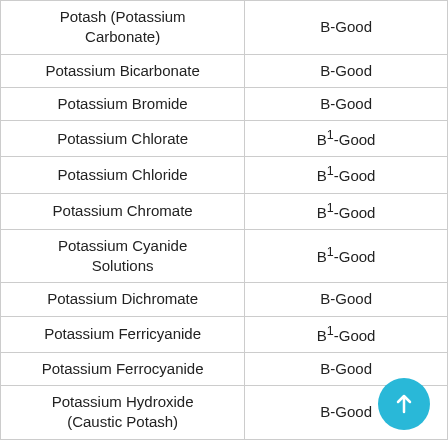| Potash (Potassium Carbonate) | B-Good |
| Potassium Bicarbonate | B-Good |
| Potassium Bromide | B-Good |
| Potassium Chlorate | B1-Good |
| Potassium Chloride | B1-Good |
| Potassium Chromate | B1-Good |
| Potassium Cyanide Solutions | B1-Good |
| Potassium Dichromate | B-Good |
| Potassium Ferricyanide | B1-Good |
| Potassium Ferrocyanide | B-Good |
| Potassium Hydroxide (Caustic Potash) | B-Good |